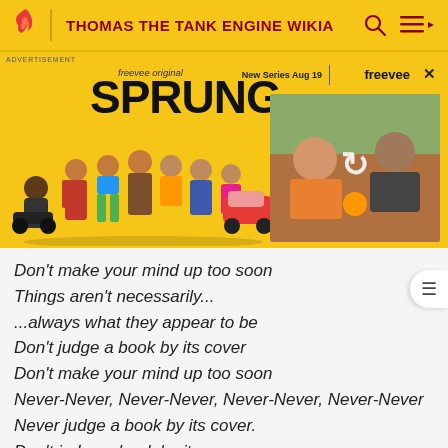THOMAS THE TANK ENGINE WIKIA
[Figure (screenshot): Advertisement banner for Amazon Freevee original series 'SPRUNG' with cast characters and a video thumbnail. Shows 'freevee original', 'SPRUNG', 'New Series Aug 19', 'freevee', and a reload icon on a video thumbnail.]
Don't make your mind up too soon
Things aren't necessarily...
...always what they appear to be
Don't judge a book by its cover
Don't make your mind up too soon
Never-Never, Never-Never, Never-Never, Never-Never
Never judge a book by its cover.
Don't judge a book by its cover
Don't make your mind up too soon